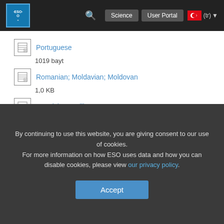ESO Science User Portal (tr)
Portuguese
1019 bayt
Romanian; Moldavian; Moldovan
1,0 KB
Spanish; Castilian
1,0 KB
Turkish
1,0 KB
Vietnamese
1,3 KB
By continuing to use this website, you are giving consent to our use of cookies.
For more information on how ESO uses data and how you can disable cookies, please view our privacy policy.
Accept